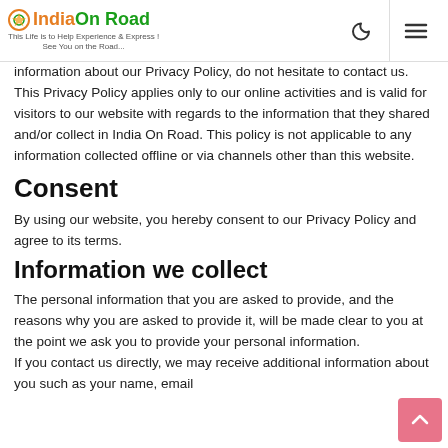India On Road — This Life is to Help Experience & Express ! See You on the Road...
information about our Privacy Policy, do not hesitate to contact us.
This Privacy Policy applies only to our online activities and is valid for visitors to our website with regards to the information that they shared and/or collect in India On Road. This policy is not applicable to any information collected offline or via channels other than this website.
Consent
By using our website, you hereby consent to our Privacy Policy and agree to its terms.
Information we collect
The personal information that you are asked to provide, and the reasons why you are asked to provide it, will be made clear to you at the point we ask you to provide your personal information.
If you contact us directly, we may receive additional information about you such as your name, email